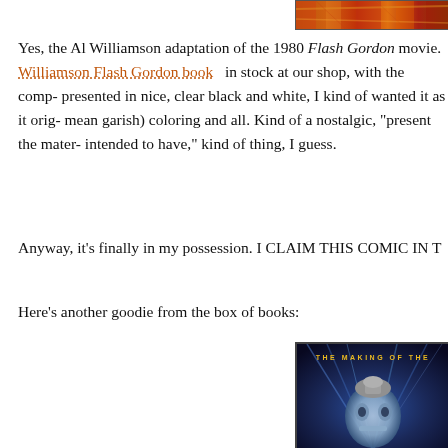[Figure (photo): Top partial image showing colorful red/orange/yellow abstract or comic art, cropped at top of page]
Yes, the Al Williamson adaptation of the 1980 Flash Gordon movie. Williamson Flash Gordon book in stock at our shop, with the comp- presented in nice, clear black and white, I kind of wanted it as it orig- mean garish) coloring and all. Kind of a nostalgic, "present the mater- intended to have," kind of thing, I guess.
Anyway, it's finally in my possession. I CLAIM THIS COMIC IN T
Here's another goodie from the box of books:
[Figure (photo): Book cover showing 'THE MAKING OF THE' text in yellow letters at top, with a blue-toned robot or alien creature face/head with metallic elements against a blue streaked background]